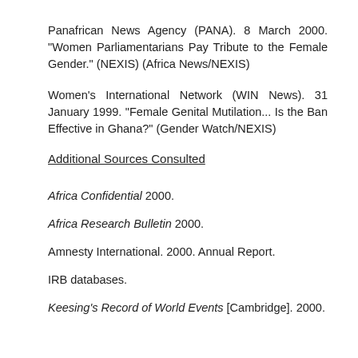Panafrican News Agency (PANA). 8 March 2000. "Women Parliamentarians Pay Tribute to the Female Gender." (NEXIS) (Africa News/NEXIS)
Women's International Network (WIN News). 31 January 1999. "Female Genital Mutilation... Is the Ban Effective in Ghana?" (Gender Watch/NEXIS)
Additional Sources Consulted
Africa Confidential 2000.
Africa Research Bulletin 2000.
Amnesty International. 2000. Annual Report.
IRB databases.
Keesing's Record of World Events [Cambridge]. 2000.